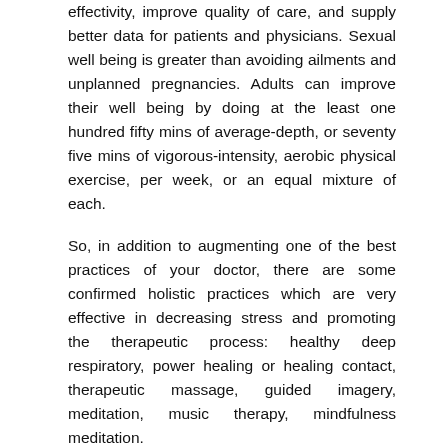effectivity, improve quality of care, and supply better data for patients and physicians. Sexual well being is greater than avoiding ailments and unplanned pregnancies. Adults can improve their well being by doing at the least one hundred fifty mins of average-depth, or seventy five mins of vigorous-intensity, aerobic physical exercise, per week, or an equal mixture of each.
So, in addition to augmenting one of the best practices of your doctor, there are some confirmed holistic practices which are very effective in decreasing stress and promoting the therapeutic process: healthy deep respiratory, power healing or healing contact, therapeutic massage, guided imagery, meditation, music therapy, mindfulness meditation.
Social Well being
It's time we had an equal for healthcare in Australia, says Stephen Duckett.
The center performs an important role in keeping the